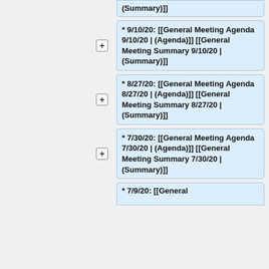* 9/10/20: [[General Meeting Agenda 9/10/20 | (Agenda)]] [[General Meeting Summary 9/10/20 | (Summary)]]
* 8/27/20: [[General Meeting Agenda 8/27/20 | (Agenda)]] [[General Meeting Summary 8/27/20 | (Summary)]]
* 7/30/20: [[General Meeting Agenda 7/30/20 | (Agenda)]] [[General Meeting Summary 7/30/20 | (Summary)]]
* 7/9/20: [[General ...